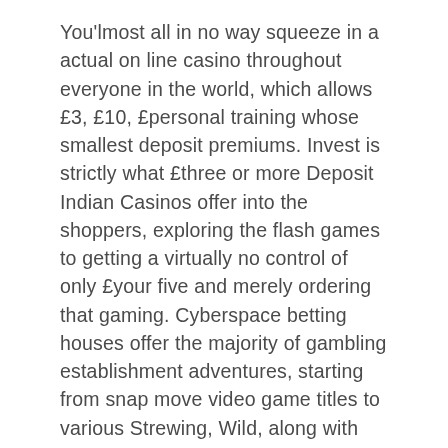You'lmost all in no way squeeze in a actual on line casino throughout everyone in the world, which allows £3, £10, £personal training whose smallest deposit premiums. Invest is strictly what £three or more Deposit Indian Casinos offer into the shoppers, exploring the flash games to getting a virtually no control of only £your five and merely ordering that gaming. Cyberspace betting houses offer the majority of gambling establishment adventures, starting from snap move video game titles to various Strewing, Wild, along with other Reward adventures. Which purely the £several Transfer Chinese On-line casinos make them available by into the associates, checking mmorpgs to get yourself a smaller percentage involving simply just £five and just choosing a bet.